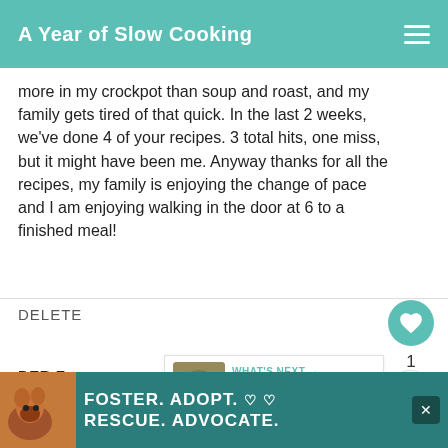A Year of Slow Cooking
more in my crockpot than soup and roast, and my family gets tired of that quick. In the last 2 weeks, we've done 4 of your recipes. 3 total hits, one miss, but it might have been me. Anyway thanks for all the recipes, my family is enjoying the change of pace and I am enjoying walking in the door at 6 to a finished meal!
DELETE
1
DEB F.
3/31/2015
This was REALLY good! Subbed about 1 tsp.
[Figure (infographic): WHAT'S NEXT arrow with Spinach Bisque Slow... thumbnail]
[Figure (infographic): Ad banner: FOSTER. ADOPT. hearts / RESCUE. ADVOCATE. with dog photo and close button]